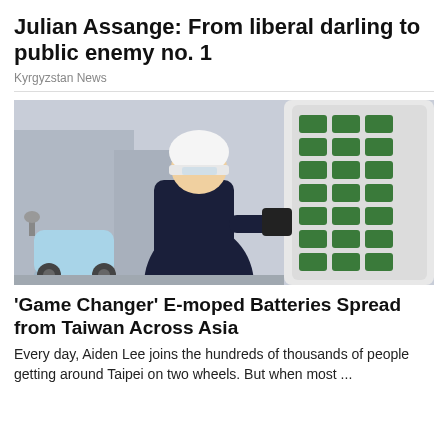Julian Assange: From liberal darling to public enemy no. 1
Kyrgyzstan News
[Figure (photo): Person wearing a white helmet and dark clothing using an electric moped battery swap station with green and black battery slots on the right side; a light blue moped is visible on the left.]
'Game Changer' E-moped Batteries Spread from Taiwan Across Asia
Every day, Aiden Lee joins the hundreds of thousands of people getting around Taipei on two wheels. But when most ...